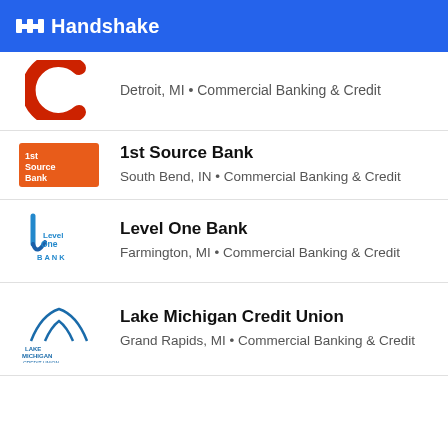Handshake
Detroit, MI • Commercial Banking & Credit
1st Source Bank
South Bend, IN • Commercial Banking & Credit
Level One Bank
Farmington, MI • Commercial Banking & Credit
Lake Michigan Credit Union
Grand Rapids, MI • Commercial Banking & Credit